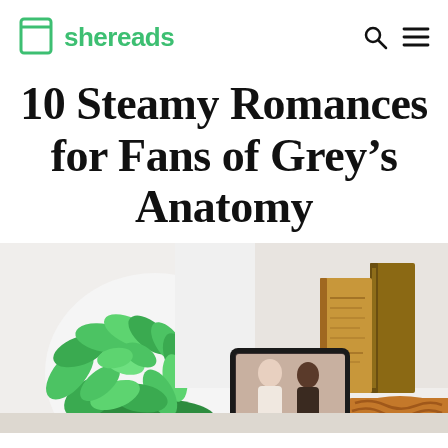shereads
10 Steamy Romances for Fans of Grey's Anatomy
[Figure (photo): A flat-lay style photo showing a green potted plant on the left, a tablet/e-reader in the center-bottom displaying a couple, and stacked books with warm brown tones and a braided rope/basket on the right, all on a white surface.]